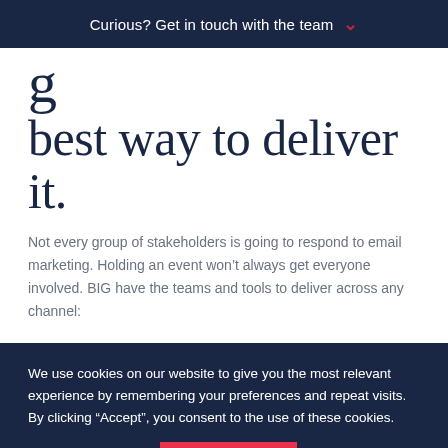Curious? Get in touch with the team
best way to deliver it.
Not every group of stakeholders is going to respond to email marketing. Holding an event won't always get everyone involved. BIG have the teams and tools to deliver across any channel:
We use cookies on our website to give you the most relevant experience by remembering your preferences and repeat visits. By clicking “Accept”, you consent to the use of these cookies.
Cookie settings | ACCEPT